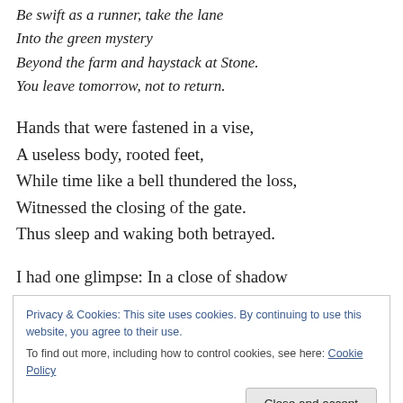Be swift as a runner, take the lane
Into the green mystery
Beyond the farm and haystack at Stone.
You leave tomorrow, not to return.
Hands that were fastened in a vise,
A useless body, rooted feet,
While time like a bell thundered the loss,
Witnessed the closing of the gate.
Thus sleep and waking both betrayed.
I had one glimpse: In a close of shadow
Privacy & Cookies: This site uses cookies. By continuing to use this website, you agree to their use.
To find out more, including how to control cookies, see here: Cookie Policy
Close and accept
If the hound of air, the ropes of shade,